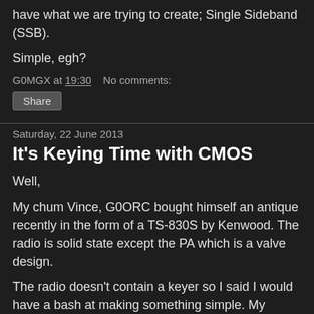have what we are trying to create; Single Sideband (SSB).
Simple, egh?
G0MGX at 19:30    No comments:
Share
Saturday, 22 June 2013
It's Keying Time with CMOS
Well,
My chum Vince, G0ORC bought himself an antique recently in the form of a TS-830S by Kenwood. The radio is solid state except the PA which is a valve design.
The radio doesn't contain a keyer so I said I would have a bash at making something simple. My tendency was to dive straight into developing something software based using a PIC, but first I decided to use some simple logic gates. A